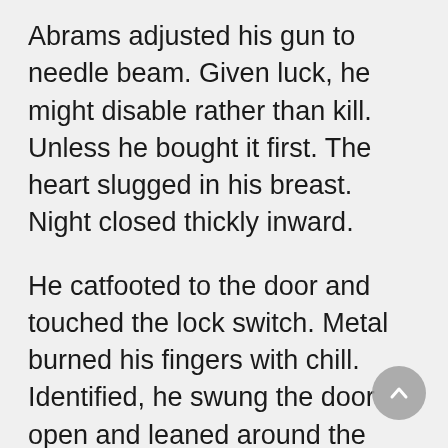Abrams adjusted his gun to needle beam. Given luck, he might disable rather than kill. Unless he bought it first. The heart slugged in his breast. Night closed thickly inward.
He catfooted to the door and touched the lock switch. Metal burned his fingers with chill. Identified, he swung the door open and leaned around the edge.
Light trickled over his shoulder and through the windows. A thing whirled from his safe. His eyes were adapted and he made out some details. It must have looked like any workman in radiation armor as it passed through the base. But now one arm had sprouted tools; and the helmet was thrown back to reveal a face